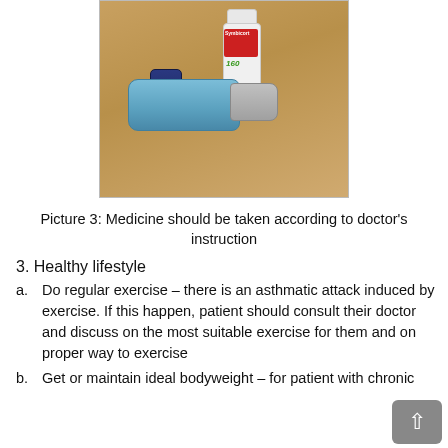[Figure (photo): Photo of a blue asthma inhaler lying flat on a wooden table, with a white medicine bottle (Symbicort 160) standing upright behind it.]
Picture 3: Medicine should be taken according to doctor's instruction
3. Healthy lifestyle
a. Do regular exercise – there is an asthmatic attack induced by exercise. If this happen, patient should consult their doctor and discuss on the most suitable exercise for them and on proper way to exercise
b. Get or maintain ideal bodyweight – for patient with chronic